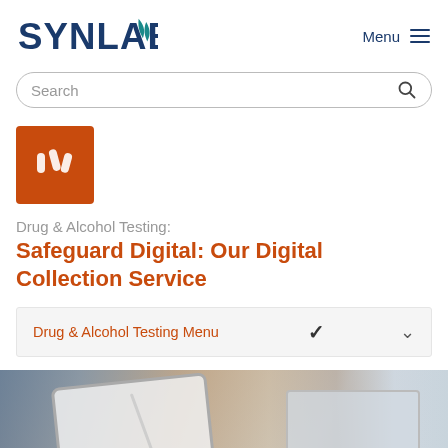[Figure (logo): SYNLAB logo with teal leaf/flame icon, dark navy blue text]
Menu ≡
[Figure (screenshot): Search bar with rounded border and search icon]
[Figure (illustration): Orange/red square icon with white medical/test tube symbol]
Drug & Alcohol Testing:
Safeguard Digital: Our Digital Collection Service
Drug & Alcohol Testing Menu ∨
[Figure (photo): Photo showing hands using a tablet and a laptop in background, office setting]